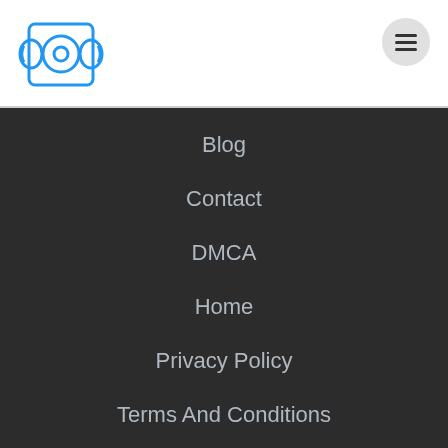[Figure (logo): Blue scroll/document icon logo in the top-left header area]
[Figure (other): Hamburger menu button (three horizontal lines) in a light gray circle in the top-right header area]
Blog
Contact
DMCA
Home
Privacy Policy
Terms And Conditions